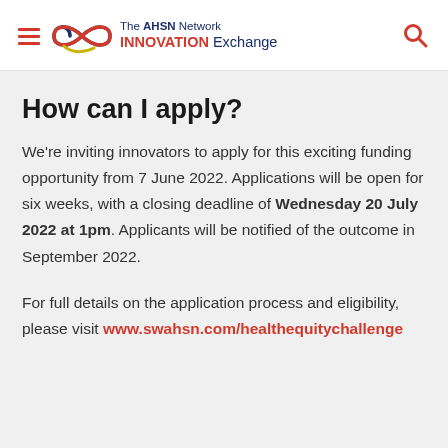The AHSN Network INNOVATION Exchange
How can I apply?
We're inviting innovators to apply for this exciting funding opportunity from 7 June 2022. Applications will be open for six weeks, with a closing deadline of Wednesday 20 July 2022 at 1pm. Applicants will be notified of the outcome in September 2022.
For full details on the application process and eligibility, please visit www.swahsn.com/healthequitychallenge